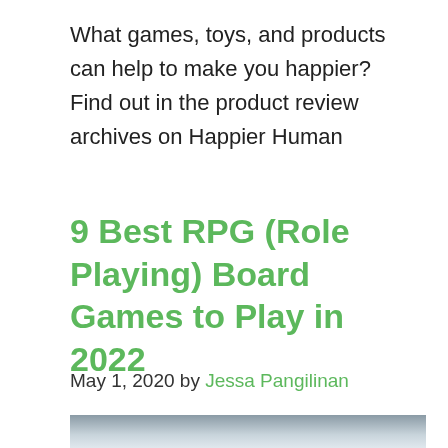What games, toys, and products can help to make you happier? Find out in the product review archives on Happier Human
9 Best RPG (Role Playing) Board Games to Play in 2022
May 1, 2020 by Jessa Pangilinan
[Figure (photo): Partially visible photo of people, cropped at bottom of page]